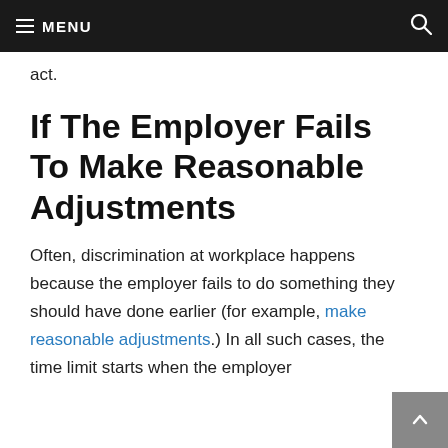MENU
act.
If The Employer Fails To Make Reasonable Adjustments
Often, discrimination at workplace happens because the employer fails to do something they should have done earlier (for example, make reasonable adjustments.) In all such cases, the time limit starts when the employer